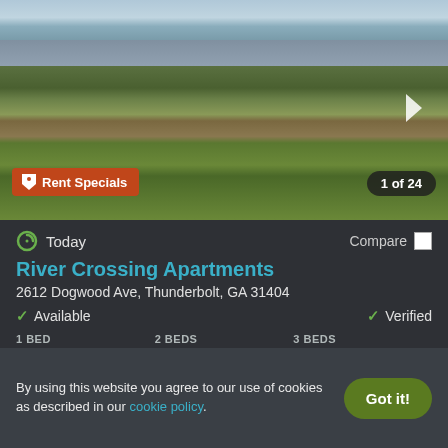[Figure (photo): Exterior photo of River Crossing Apartments showing landscaping with ornamental grasses, trees, and building facade]
Rent Specials
1 of 24
Today
Compare
River Crossing Apartments
2612 Dogwood Ave, Thunderbolt, GA 31404
Available
Verified
| 1 BED | 2 BEDS | 3 BEDS |
| --- | --- | --- |
| $1,210 | $1,395 | $1,745 |
View Details
Contact Property
By using this website you agree to our use of cookies as described in our cookie policy.
Got it!